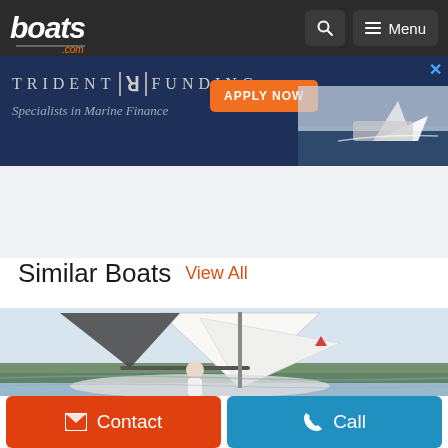boats.com
[Figure (screenshot): Trident Funding advertisement banner - dark blue background with logo, tagline 'Specialists in Marine Finance', orange APPLY NOW button, and a boat image]
Similar Boats  View All
[Figure (photo): Sailboat on water with a person at the helm, large white sails, calm water with tree line in background]
Contact
Call